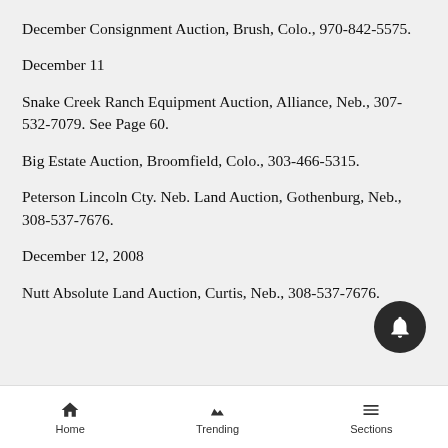December Consignment Auction, Brush, Colo., 970-842-5575.
December 11
Snake Creek Ranch Equipment Auction, Alliance, Neb., 307-532-7079. See Page 60.
Big Estate Auction, Broomfield, Colo., 303-466-5315.
Peterson Lincoln Cty. Neb. Land Auction, Gothenburg, Neb., 308-537-7676.
December 12, 2008
Nutt Absolute Land Auction, Curtis, Neb., 308-537-7676.
Home   Trending   Sections